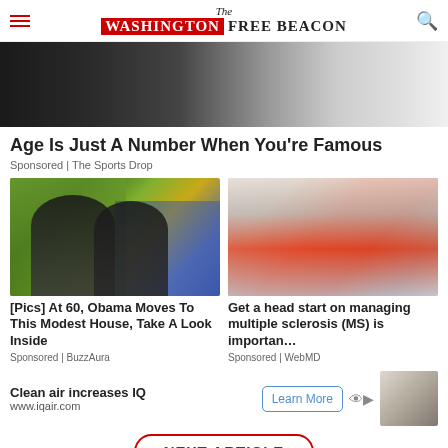The Washington Free Beacon
[Figure (photo): Cropped image of two people in formal wear, dark background]
Age Is Just A Number When You're Famous
Sponsored | The Sports Drop
[Figure (photo): Two people outdoors in a tropical/garden setting, man in sunglasses and blue shirt, woman with sunglasses]
[Pics] At 60, Obama Moves To This Modest House, Take A Look Inside
Sponsored | BuzzAura
[Figure (photo): Woman in red top working on laptop on a couch]
Get a head start on managing multiple sclerosis (MS) is importan…
Sponsored | WebMD
Clean air increases IQ
www.iqair.com
NEXT ARTICLE